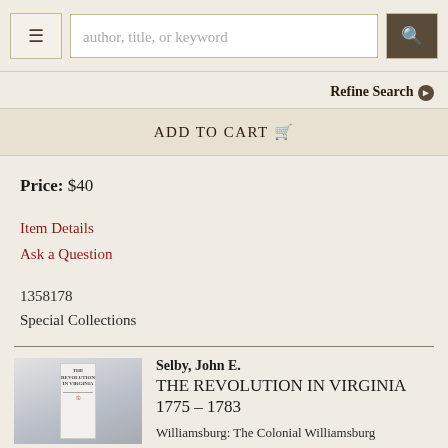author, title, or keyword [search bar] | Refine Search
ADD TO CART
Price: $40
Item Details
Ask a Question
1358178
Special Collections
[Figure (photo): Book cover photo of 'The Revolution in Virginia 1775-1783' showing a hardcover book with dust jacket, gray background]
Selby, John E.
THE REVOLUTION IN VIRGINIA 1775 – 1783
Williamsburg: The Colonial Williamsburg Foundation, 1989.